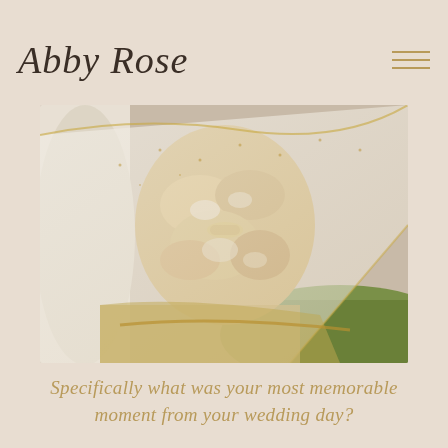Abby Rose
[Figure (photo): Close-up photograph of a bride's midsection showing an ornate gold embroidered wedding outfit with a white bridal veil draped across, with green grass visible in the background]
Specifically what was your most memorable moment from your wedding day?